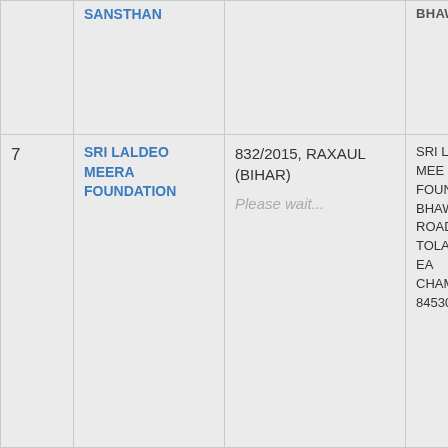| # | Name | Registration No. | Address |
| --- | --- | --- | --- |
|  | SANSTHAN |  | BHAWAN... |
| 7 | SRI LALDEO MEERA FOUNDATION | 832/2015, RAXAUL (BIHAR) | SRI LALDEO MEERA FOUNDATION,MEERA BHAWAN,MAIN ROAD KOERIA TOLA,RAXAUL EAST CHAMPARAN,BIHAR 845305 |